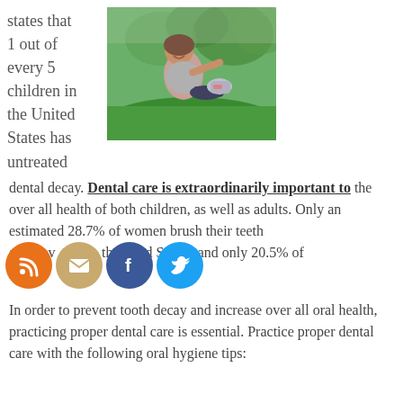states that 1 out of every 5 children in the United States has untreated dental decay. Dental care is extraordinarily important to the over all health of both children, as well as adults. Only an estimated 28.7% of women brush their teeth after every meal in the United States, and only 20.5% of m...
[Figure (photo): Young woman stretching on grass in a park, smiling at camera, wearing athletic clothes]
In order to prevent tooth decay and increase over all oral health, practicing proper dental care is essential. Practice proper dental care with the following oral hygiene tips: